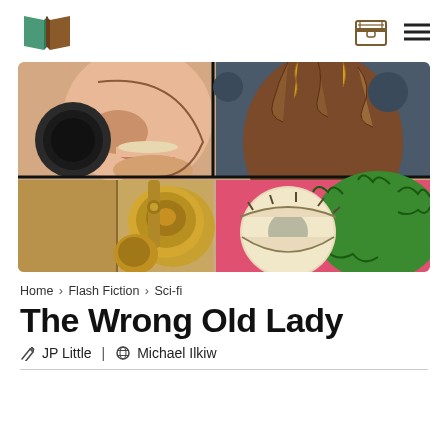Logo | Treasure chest icon | Menu icon
[Figure (illustration): Comic-style illustration split into panels: top-left shows a close-up of a face (nose, lips, chin) with a dark round object (peephole/lens); top-right shows a brown alien or creature with tentacles against a dark background; bottom-left shows a real-world brass door knob on a wooden door; bottom-center/right shows a cartoon large eye (cream and grey) with green furry creature on pink background.]
Home > Flash Fiction > Sci-fi
The Wrong Old Lady
✏ JP Little | 🎨 Michael Ilkiw